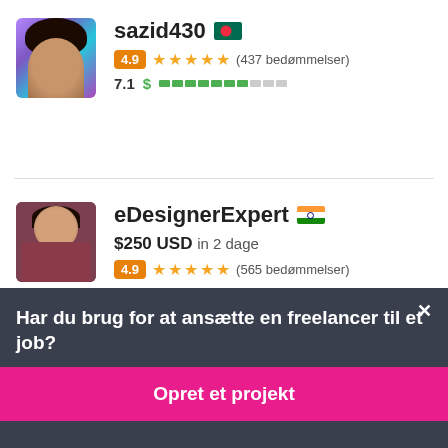sazid430 🇧🇩
4.9 ★★★★★ (437 bedømmelser)
7.1 $
eDesignerExpert 🇮🇳
$250 USD in 2 dage
4.9 ★★★★★ (565 bedømmelser)
Har du brug for at ansætte en freelancer til et job?
Opret et projekt